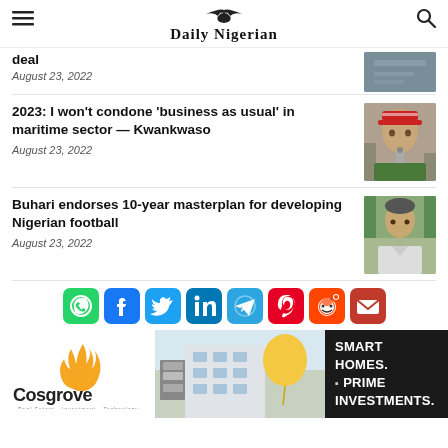Daily Nigerian
deal
August 23, 2022
2023: I won't condone 'business as usual' in maritime sector — Kwankwaso
August 23, 2022
Buhari endorses 10-year masterplan for developing Nigerian football
August 23, 2022
[Figure (infographic): Social media sharing icons: WhatsApp, Facebook, Twitter, LinkedIn, Telegram, Pinterest, Reddit, Email]
[Figure (illustration): Cosgrove Real Estate advertisement — Smart Homes. Prime Investments. Shows building exterior with logo.]